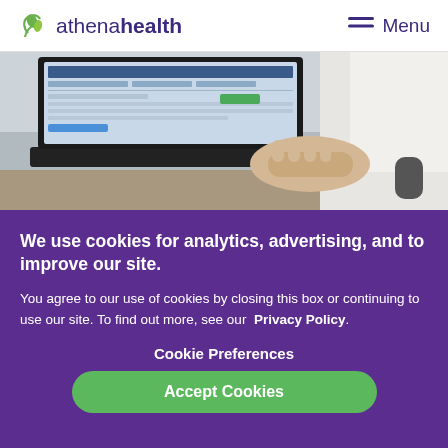athenahealth  Menu
[Figure (photo): Person using a laptop computer showing athenahealth software interface, photographed from the side. A hand is visible on the keyboard and the laptop screen displays a healthcare software dashboard.]
We use cookies for analytics, advertising, and to improve our site.
You agree to our use of cookies by closing this box or continuing to use our site. To find out more, see our  Privacy Policy.
Cookie Preferences
Accept Cookies